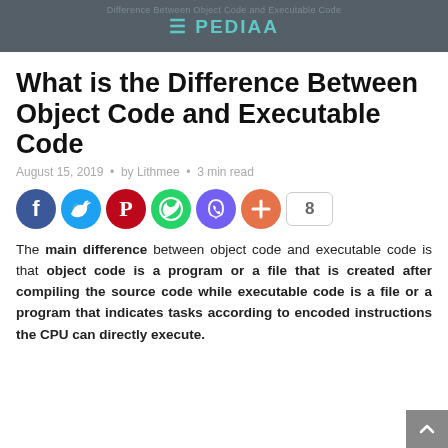PEDIAA
What is the Difference Between Object Code and Executable Code
August 15, 2019 · by Lithmee · 3 min read
[Figure (infographic): Social media share buttons: Facebook, Twitter, Pinterest, WhatsApp, Viber, plus button, and share count of 8]
The main difference between object code and executable code is that object code is a program or a file that is created after compiling the source code while executable code is a file or a program that indicates tasks according to encoded instructions the CPU can directly execute.